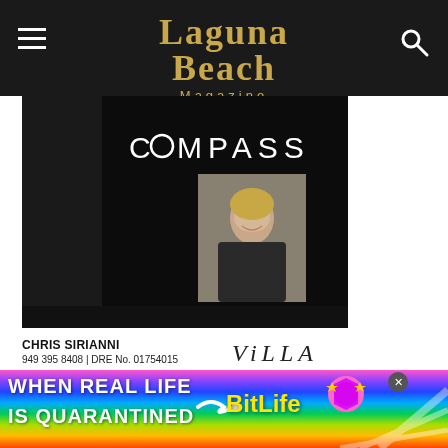Laguna Beach Magazine
[Figure (screenshot): Compass real estate advertisement showing COMPASS logo in white text on black background with a photo of a blonde woman (agent) in the lower right portion of the ad]
CHRIS SIRIANNI
949 395 8408 | DRE No. 01754015
[Figure (logo): VILLA logo in stylized italic serif font]
[Figure (screenshot): Mobile advertisement banner: WHEN REAL LIFE IS QUARANTINED with BitLife game branding and colorful rainbow background with emoji-style graphics]